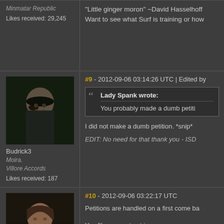Minmatar Republic
Likes received: 29,245
"Little ginger moron" ~David Hasselhoff
Want to see what Surf is training or how
[Figure (photo): Forum avatar: bald male character with dark eye makeup, sci-fi styling]
Budrick3
Moira.
Villore Accords
Likes received: 187
#9 - 2012-09-06 03:14:26 UTC | Edited by
Lady Spank wrote:
You probably made a dumb petiti
I did not make a dumb petition. *snip*
EDIT: No need for that thank you - ISD
[Figure (photo): Forum avatar: female character with short brown hair, sci-fi styling]
#10 - 2012-09-06 03:22:17 UTC
Petitions are handled on a first come ba
You file, you get put in queue.